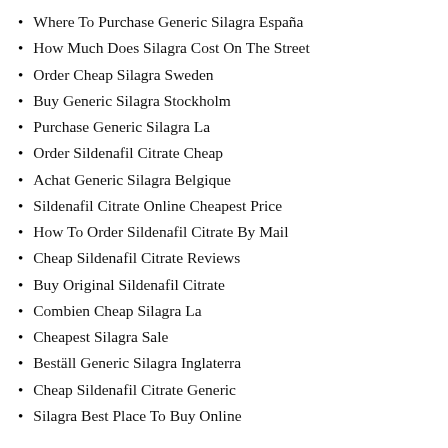Where To Purchase Generic Silagra España
How Much Does Silagra Cost On The Street
Order Cheap Silagra Sweden
Buy Generic Silagra Stockholm
Purchase Generic Silagra La
Order Sildenafil Citrate Cheap
Achat Generic Silagra Belgique
Sildenafil Citrate Online Cheapest Price
How To Order Sildenafil Citrate By Mail
Cheap Sildenafil Citrate Reviews
Buy Original Sildenafil Citrate
Combien Cheap Silagra La
Cheapest Silagra Sale
Beställ Generic Silagra Inglaterra
Cheap Sildenafil Citrate Generic
Silagra Best Place To Buy Online